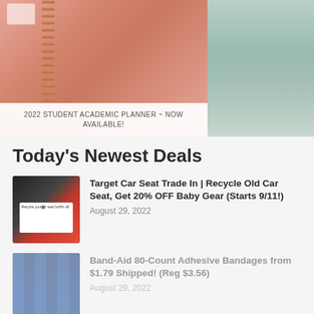[Figure (photo): Top banner photo showing a person holding a pink/salmon spiral academic planner on the left, and a person's wrist with teal/mint bracelets on the right. Overlaid text label on bottom-left of image reads: 2022 STUDENT ACADEMIC PLANNER ~ NOW AVAILABLE!]
2022 STUDENT ACADEMIC PLANNER ~ NOW AVAILABLE!
Today’s Newest Deals
[Figure (photo): Thumbnail image of Target car seat trade-in bags at a store, white bags printed with text 'Recycle your car seat for 20% off' against a dark background with red Target signage.]
Target Car Seat Trade In | Recycle Old Car Seat, Get 20% OFF Baby Gear (Starts 9/11!)
August 29, 2022
[Figure (photo): Thumbnail image of Band-Aid bandage boxes on a store shelf, mostly blue packaging.]
Band-Aid 80-Count Adhesive Bandages from $1.79 Shipped! (Reg $3.56)
August 29, 2022